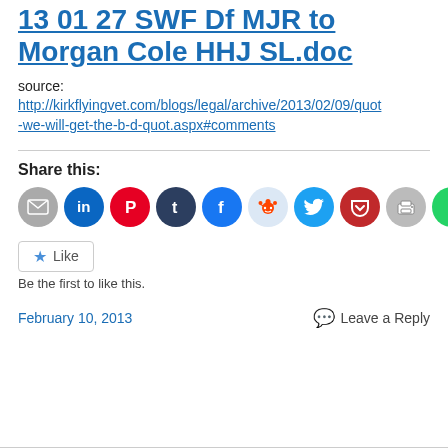13 01 27 SWF Df MJR to Morgan Cole HHJ SL.doc
source:
http://kirkflyingvet.com/blogs/legal/archive/2013/02/09/quot-we-will-get-the-b-d-quot.aspx#comments
Share this:
[Figure (infographic): Row of social sharing icon circles: email (grey), LinkedIn (blue), Pinterest (red), Tumblr (dark navy), Facebook (blue), Reddit (light blue/grey), Twitter (cyan), Pocket (dark red), Print (grey), WhatsApp (green)]
Like
Be the first to like this.
February 10, 2013
Leave a Reply